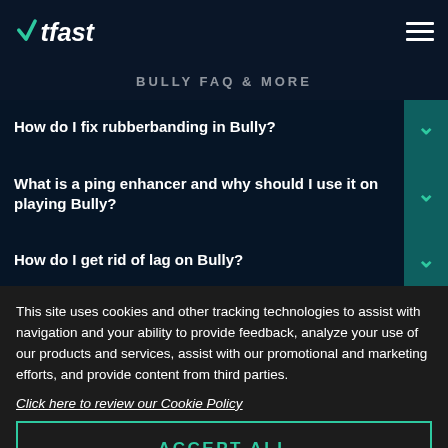WTFast logo and hamburger menu navigation
BULLY FAQ & MORE
How do I fix rubberbanding in Bully?
What is a ping enhancer and why should I use it on playing Bully?
How do I get rid of lag on Bully?
This site uses cookies and other tracking technologies to assist with navigation and your ability to provide feedback, analyze your use of our products and services, assist with our promotional and marketing efforts, and provide content from third parties.
Click here to review our Cookie Policy
ACCEPT ALL
Accept mandatory and performance